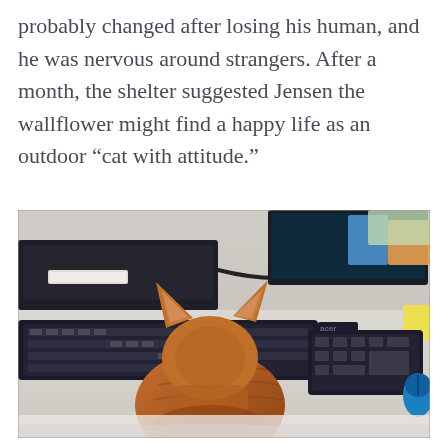probably changed after losing his human, and he was nervous around strangers. After a month, the shelter suggested Jensen the wallflower might find a happy life as an outdoor “cat with attitude.”
[Figure (photo): An orange tabby cat seen from behind, sitting on a white desk with computer keyboards on both sides, looking toward a monitor. Office supplies and a blue mouse are visible on the desk.]